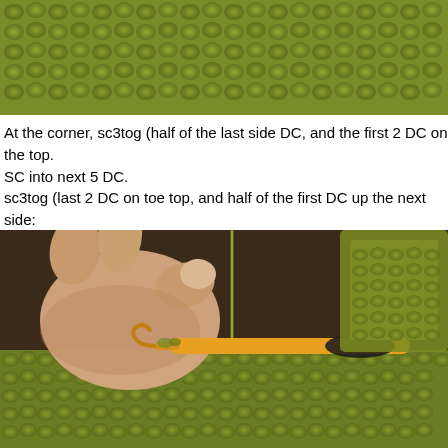[Figure (photo): Close-up photo of green crochet knit fabric texture at the top of the page]
At the corner, sc3tog (half of the last side DC, and the first 2 DC on the top.
SC into next 5 DC.
sc3tog (last 2 DC on toe top, and half of the first DC up the next side:
[Figure (photo): Close-up photo of hands crocheting green yarn with a yellow/orange crochet hook on a green crocheted item]